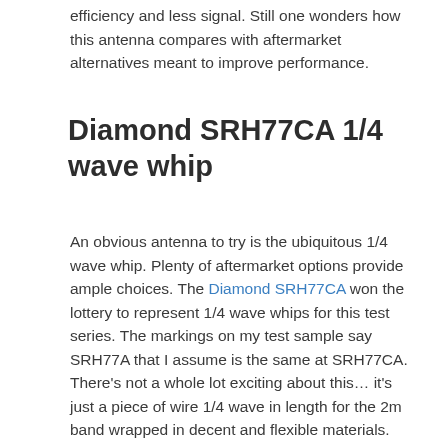efficiency and less signal. Still one wonders how this antenna compares with aftermarket alternatives meant to improve performance.
Diamond SRH77CA 1/4 wave whip
An obvious antenna to try is the ubiquitous 1/4 wave whip. Plenty of aftermarket options provide ample choices. The Diamond SRH77CA won the lottery to represent 1/4 wave whips for this test series. The markings on my test sample say SRH77A that I assume is the same at SRH77CA. There’s not a whole lot exciting about this… it’s just a piece of wire 1/4 wave in length for the 2m band wrapped in decent and flexible materials. Figure 4 includes this antenna